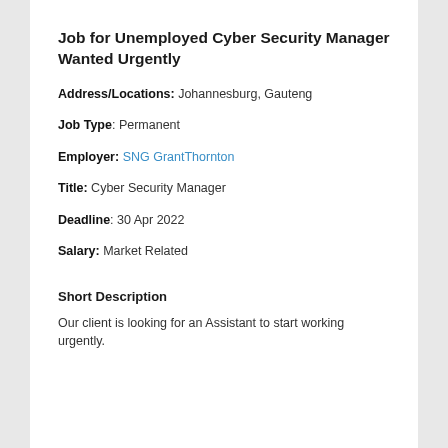Job for Unemployed Cyber Security Manager Wanted Urgently
Address/Locations: Johannesburg, Gauteng
Job Type: Permanent
Employer: SNG GrantThornton
Title: Cyber Security Manager
Deadline: 30 Apr 2022
Salary: Market Related
Short Description
Our client is looking for an Assistant to start working urgently.